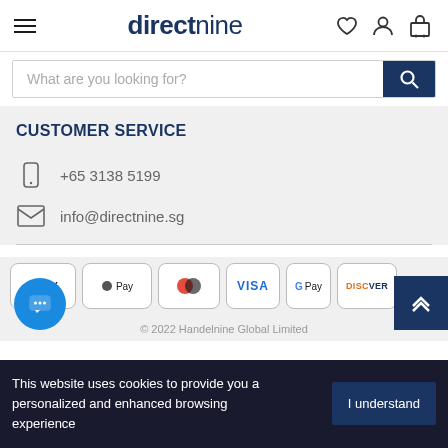directnine — navigation header with hamburger menu, wishlist, account, and cart icons
What are you looking for?
CUSTOMER SERVICE
+65 3138 5199
info@directnine.sg
[Figure (infographic): Payment method badges: AMEX, Apple Pay, Mastercard, VISA, Google Pay, Discover]
© 2022 Handelnine Global Limited
This website uses cookies to provide you a personalized and enhanced browsing experience
I understand